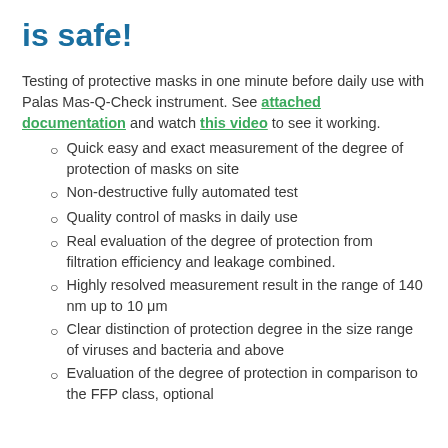is safe!
Testing of protective masks in one minute before daily use with Palas Mas-Q-Check instrument. See attached documentation and watch this video to see it working.
Quick easy and exact measurement of the degree of protection of masks on site
Non-destructive fully automated test
Quality control of masks in daily use
Real evaluation of the degree of protection from filtration efficiency and leakage combined.
Highly resolved measurement result in the range of 140 nm up to 10 μm
Clear distinction of protection degree in the size range of viruses and bacteria and above
Evaluation of the degree of protection in comparison to the FFP class, optional